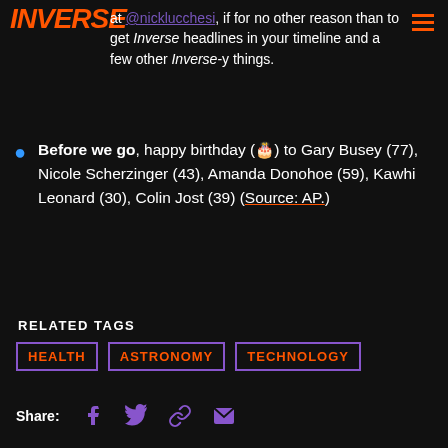INVERSE
follow me on Twitter at @nicklucchesi, if for no other reason than to get Inverse headlines in your timeline and a few other Inverse-y things.
Before we go, happy birthday (🎂) to Gary Busey (77), Nicole Scherzinger (43), Amanda Donohoe (59), Kawhi Leonard (30), Colin Jost (39) (Source: AP.)
RELATED TAGS
HEALTH  ASTRONOMY  TECHNOLOGY
Share: